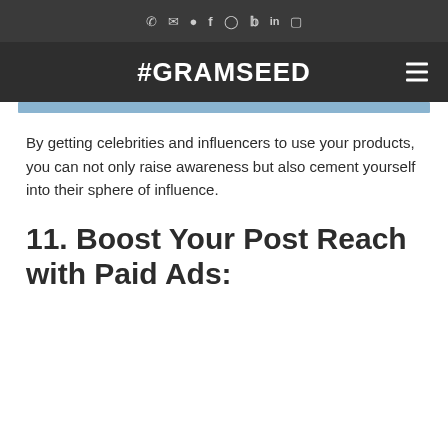☎ ✉ ● f ◯ 𝕏 in □
#GRAMSEED
By getting celebrities and influencers to use your products, you can not only raise awareness but also cement yourself into their sphere of influence.
11. Boost Your Post Reach with Paid Ads: